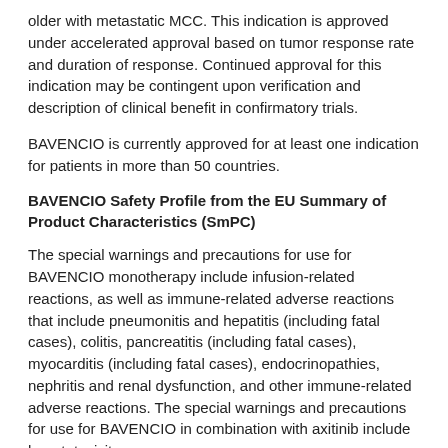older with metastatic MCC. This indication is approved under accelerated approval based on tumor response rate and duration of response. Continued approval for this indication may be contingent upon verification and description of clinical benefit in confirmatory trials.
BAVENCIO is currently approved for at least one indication for patients in more than 50 countries.
BAVENCIO Safety Profile from the EU Summary of Product Characteristics (SmPC)
The special warnings and precautions for use for BAVENCIO monotherapy include infusion-related reactions, as well as immune-related adverse reactions that include pneumonitis and hepatitis (including fatal cases), colitis, pancreatitis (including fatal cases), myocarditis (including fatal cases), endocrinopathies, nephritis and renal dysfunction, and other immune-related adverse reactions. The special warnings and precautions for use for BAVENCIO in combination with axitinib include hepatotoxicity.